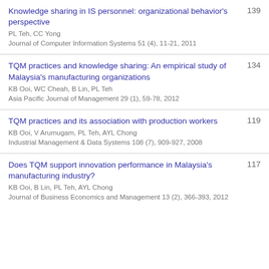Knowledge sharing in IS personnel: organizational behavior's perspective
PL Teh, CC Yong
Journal of Computer Information Systems 51 (4), 11-21, 2011
139
TQM practices and knowledge sharing: An empirical study of Malaysia's manufacturing organizations
KB Ooi, WC Cheah, B Lin, PL Teh
Asia Pacific Journal of Management 29 (1), 59-78, 2012
134
TQM practices and its association with production workers
KB Ooi, V Arumugam, PL Teh, AYL Chong
Industrial Management & Data Systems 108 (7), 909-927, 2008
119
Does TQM support innovation performance in Malaysia's manufacturing industry?
KB Ooi, B Lin, PL Teh, AYL Chong
Journal of Business Economics and Management 13 (2), 366-393, 2012
117